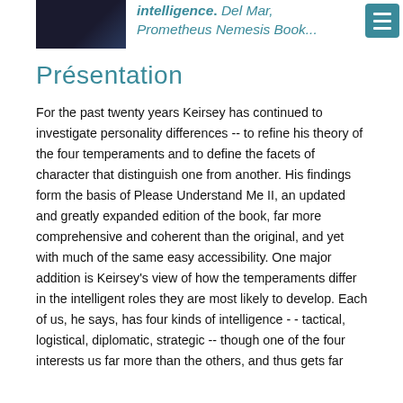[Figure (photo): Book cover image, dark background with text]
intelligence. Del Mar, Prometheus Nemesis Book...
Présentation
For the past twenty years Keirsey has continued to investigate personality differences -- to refine his theory of the four temperaments and to define the facets of character that distinguish one from another. His findings form the basis of Please Understand Me II, an updated and greatly expanded edition of the book, far more comprehensive and coherent than the original, and yet with much of the same easy accessibility. One major addition is Keirsey's view of how the temperaments differ in the intelligent roles they are most likely to develop. Each of us, he says, has four kinds of intelligence -- tactical, logistical, diplomatic, strategic -- though one of the four interests us far more than the others, and thus gets far